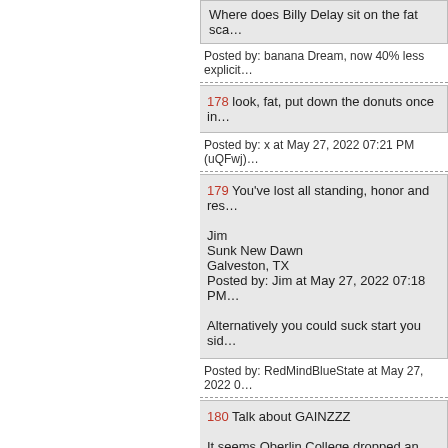Where does Billy Delay sit on the fat sca...
Posted by: banana Dream, now 40% less explicit...
178 look, fat, put down the donuts once in...
Posted by: x at May 27, 2022 07:21 PM (uQFwj)
179 You've lost all standing, honor and res...

Jim
Sunk New Dawn
Galveston, TX
Posted by: Jim at May 27, 2022 07:18 PM...

Alternatively you could suck start you sid...
Posted by: RedMindBlueState at May 27, 2022 0...
180 Talk about GAINZZZ

It seems Oberlin College dropped an expe... appeal's court ruling that told the people w... Gibson family.